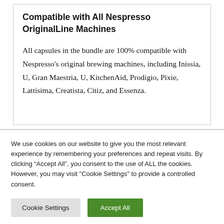Compatible with All Nespresso OriginalLine Machines
All capsules in the bundle are 100% compatible with Nespresso's original brewing machines, including Inissia, U, Gran Maestria, U, KitchenAid, Prodigio, Pixie, Lattisima, Creatista, Citiz, and Essenza.
We use cookies on our website to give you the most relevant experience by remembering your preferences and repeat visits. By clicking “Accept All”, you consent to the use of ALL the cookies. However, you may visit "Cookie Settings" to provide a controlled consent.